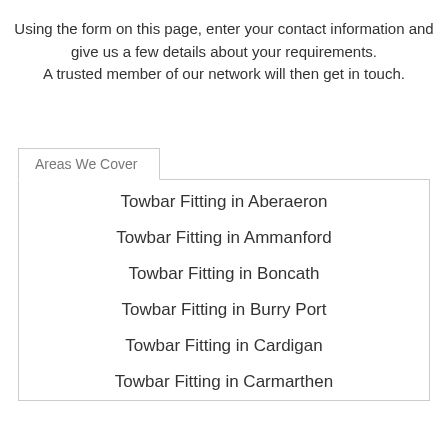Using the form on this page, enter your contact information and give us a few details about your requirements. A trusted member of our network will then get in touch.
Areas We Cover
Towbar Fitting in Aberaeron
Towbar Fitting in Ammanford
Towbar Fitting in Boncath
Towbar Fitting in Burry Port
Towbar Fitting in Cardigan
Towbar Fitting in Carmarthen